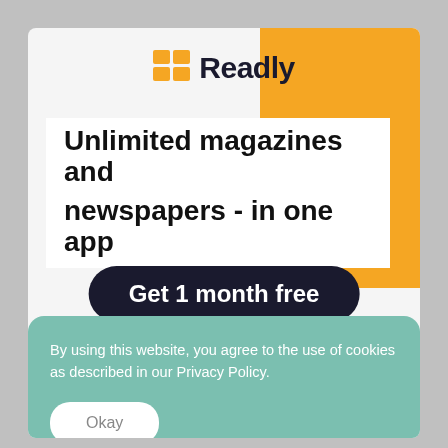[Figure (screenshot): Readly app website screenshot showing logo, headline 'Unlimited magazines and newspapers - in one app', a 'Get 1 month free' CTA button, and a cookie consent banner overlaid on the page.]
Readly
Unlimited magazines and newspapers - in one app
Get 1 month free
By using this website, you agree to the use of cookies as described in our Privacy Policy.
Okay